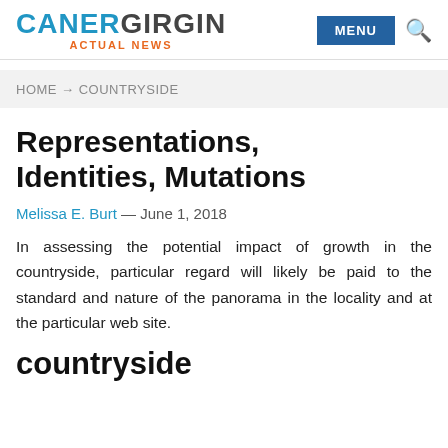CANERGIRGIN ACTUAL NEWS — MENU [search]
HOME → COUNTRYSIDE
Representations, Identities, Mutations
Melissa E. Burt — June 1, 2018
In assessing the potential impact of growth in the countryside, particular regard will likely be paid to the standard and nature of the panorama in the locality and at the particular web site.
countryside [cut off]